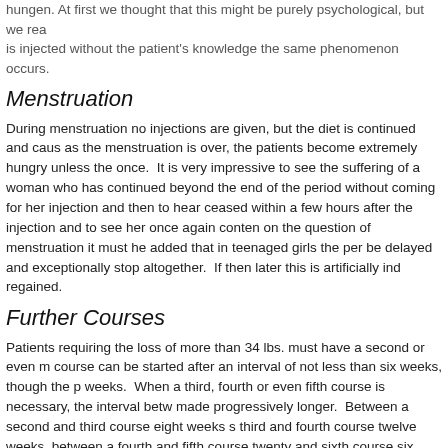hungen. At first we thought that this might be purely psychological, but we rea is injected without the patient's knowledge the same phenomenon occurs.
Menstruation
During menstruation no injections are given, but the diet is continued and caus as the menstruation is over, the patients become extremely hungry unless the once. It is very impressive to see the suffering of a woman who has continued beyond the end of the period without coming for her injection and then to hear ceased within a few hours after the injection and to see her once again conten on the question of menstruation it must he added that in teenaged girls the per be delayed and exceptionally stop altogether. If then later this is artificially ind regained.
Further Courses
Patients requiring the loss of more than 34 lbs. must have a second or even m course can be started after an interval of not less than six weeks, though the p weeks. When a third, fourth or even fifth course is necessary, the interval betw made progressively longer. Between a second and third course eight weeks s third and fourth course twelve weeks, between a fourth and fifth course twenty and sixth course six months. In this way it is possible to bring about a weight r more if required without the least hardship to the patient.